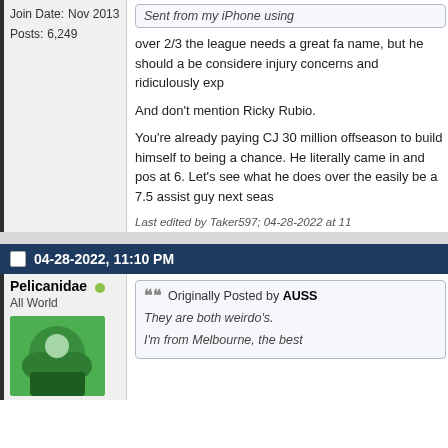Join Date: Nov 2013
Posts: 6,249
Sent from my iPhone using
over 2/3 the league needs a great fa name, but he should a be considered injury concerns and ridiculously exp
And don't mention Ricky Rubio.
You're already paying CJ 30 million offseason to build himself to being a chance. He literally came in and pos at 6. Let's see what he does over the easily be a 7.5 assist guy next seas
Last edited by Taker597; 04-28-2022 at 11
04-28-2022, 11:10 PM
Pelicanidae
All World
Originally Posted by AUSS They are both weirdo's.
I'm from Melbourne, the best